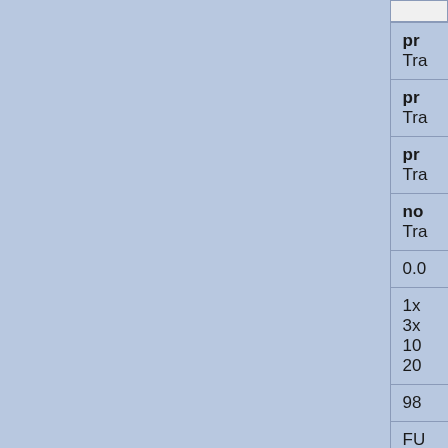| Field | Value |
| --- | --- |
| Predicted Effect | pr…
Tra… |
| Predicted Effect | pr…
Tra… |
| Predicted Effect | pr…
Tra… |
| Predicted Effect | no…
Tra… |
| Meta Mutation Damage Score | 0.0… |
| Coding Region Coverage | 1x…
3x…
10…
20… |
| Validation Efficiency | 98… |
| MGI Phenotype | FU…
en…
cla…
be… |